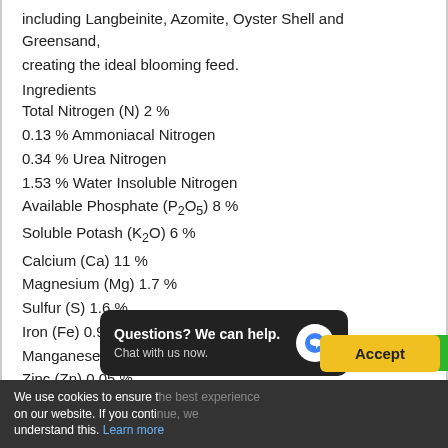including Langbeinite, Azomite, Oyster Shell and Greensand, creating the ideal blooming feed.
Ingredients
Total Nitrogen (N) 2 %
0.13 % Ammoniacal Nitrogen
0.34 % Urea Nitrogen
1.53 % Water Insoluble Nitrogen
Available Phosphate (P2O5) 8 %
Soluble Potash (K2O) 6 %
Calcium (Ca) 11 %
Magnesium (Mg) 1.7 %
Sulfur (S) 1.6 %
Iron (Fe) 0.9 %
Manganese (Mn) 0.3 %
Zinc (Zn) 0.05 %
Fertilizer Derived From: Seabird Guano, Kelp Meal, Bat Guano, Fish Bone Meal, ...
We use cookies to ensure the best experience on our website. If you continue, we understand this. Learn more
Questions? We can help. Chat with us now.